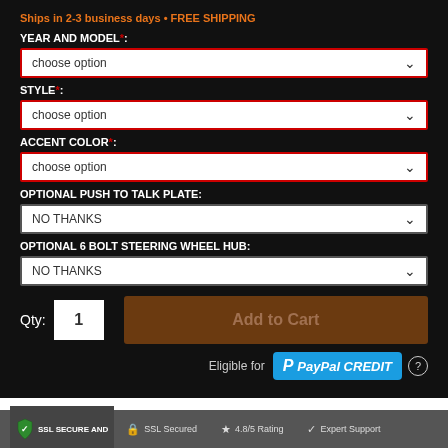Ships in 2-3 business days • FREE SHIPPING
YEAR AND MODEL*:
choose option
STYLE*:
choose option
ACCENT COLOR*:
choose option
OPTIONAL PUSH TO TALK PLATE:
NO THANKS
OPTIONAL 6 BOLT STEERING WHEEL HUB:
NO THANKS
Qty: 1
Add to Cart
Eligible for PayPal CREDIT
SSL SECURE AND | SSL Secured | 4.8/5 Rating | Expert Support